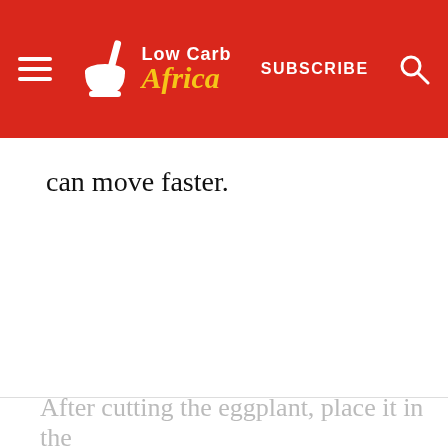[Figure (logo): Low Carb Africa website header with red background, hamburger menu icon on left, mortar and pestle logo with 'Low Carb Africa' text in center, 'SUBSCRIBE' text and search icon on right]
can move faster.
After cutting the eggplant, place it in the